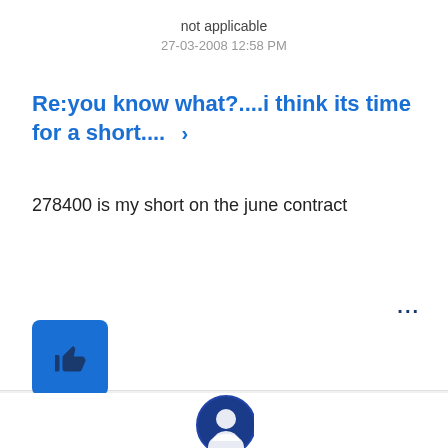not applicable
27-03-2008 12:58 PM
Re:you know what?....i think its time for a short.... >
278400 is my short on the june contract
0 Kudos